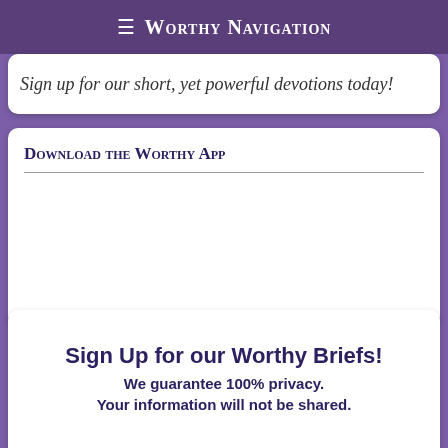≡ Worthy Navigation
Sign up for our short, yet powerful devotions today!
Download the Worthy App
[Figure (other): Empty white content area for app download section]
Sign Up for our Worthy Briefs!
We guarantee 100% privacy. Your information will not be shared.